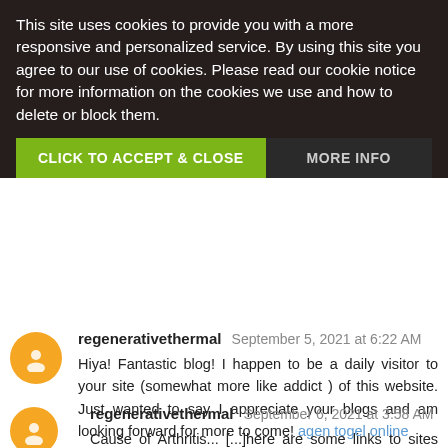This site uses cookies to provide you with a more responsive and personalized service. By using this site you agree to our use of cookies. Please read our cookie notice for more information on the cookies we use and how to delete or block them.
CLICK TO ACCEPT & CLOSE
MORE INFO
regenerativethermal September 5, 2021 at 6:22 AM
Hiya! Fantastic blog! I happen to be a daily visitor to your site (somewhat more like addict ) of this website. Just wanted to say I appreciate your blogs and am looking forward for more to come! agen togel online
Reply
regenerativethermal September 6, 2021 at 3:58 AM
Cause of Arthritis... [...]here are some links to sites that we...